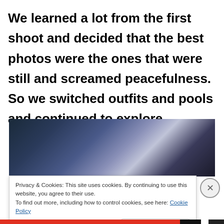We learned a lot from the first shoot and decided that the best photos were the ones that were still and screamed peacefulness. So we switched outfits and pools and continued to explore .
[Figure (photo): A dark aerial or wide-angle photo showing a body of water or landscape with dark tones, blues, and a light glowing area, possibly water at night or from above.]
Privacy & Cookies: This site uses cookies. By continuing to use this website, you agree to their use.
To find out more, including how to control cookies, see here: Cookie Policy